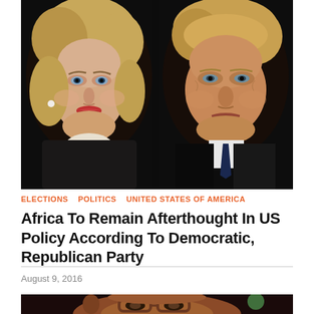[Figure (photo): Photo of Hillary Clinton on the left and Donald Trump on the right, both with serious expressions against a dark background]
ELECTIONS   POLITICS   UNITED STATES OF AMERICA
Africa To Remain Afterthought In US Policy According To Democratic, Republican Party
August 9, 2016
[Figure (photo): Close-up photo of a person wearing tortoiseshell glasses, partially cropped at bottom of page]